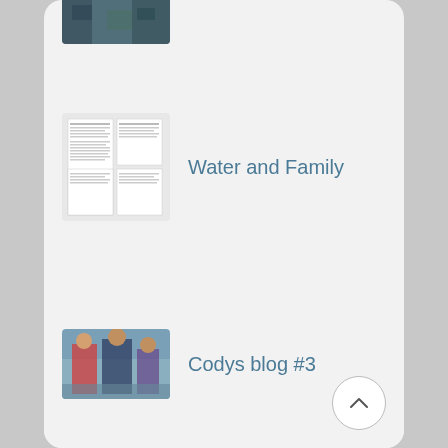[Figure (screenshot): Mobile app screenshot showing a list of blog posts with thumbnail images. Partially visible aerial photo thumbnail at top. Three list items visible: 'Water and Family' with a document/newsletter thumbnail, 'Codys blog #3' with a photo of people outdoors, 'Working with the PBWCI Blog Post 1' with a colorful paper thumbnail. A back-to-top arrow button in bottom right.]
Water and Family
Codys blog #3
Working with the PBWCI Blog Post 1